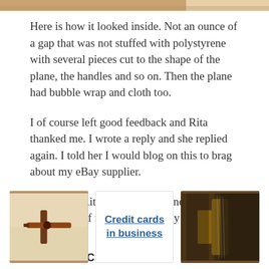[Figure (photo): Top partial image of packaging or wooden plane interior, cropped]
Here is how it looked inside. Not an ounce of a gap that was not stuffed with polystyrene with several pieces cut to the shape of the plane, the handles and so on. Then the plane had bubble wrap and cloth too.
I of course left good feedback and Rita thanked me. I wrote a reply and she replied again. I told her I would blog on this to brag about my eBay supplier.
Thank you Rita for a lovely plane I will use for the rest of my life...hopefully a long time yet!
RELATED CONTENT
[Figure (photo): Photo of a wooden marking gauge tool on a light background]
[Figure (other): Card with link text: Credit cards in business]
[Figure (photo): Photo of a person playing a stringed instrument, dark background]